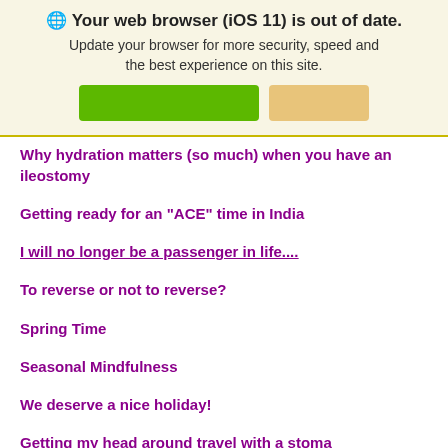🌐 Your web browser (iOS 11) is out of date. Update your browser for more security, speed and the best experience on this site.
[Figure (other): Two buttons: a green rectangular button and a tan/gold rectangular button]
Why hydration matters (so much) when you have an ileostomy
Getting ready for an "ACE" time in India
I will no longer be a passenger in life....
To reverse or not to reverse?
Spring Time
Seasonal Mindfulness
We deserve a nice holiday!
Getting my head around travel with a stoma